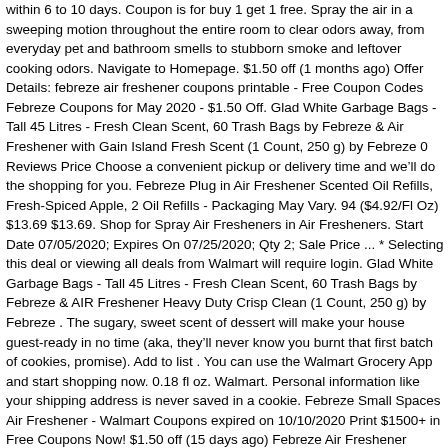within 6 to 10 days. Coupon is for buy 1 get 1 free. Spray the air in a sweeping motion throughout the entire room to clear odors away, from everyday pet and bathroom smells to stubborn smoke and leftover cooking odors. Navigate to Homepage. $1.50 off (1 months ago) Offer Details: febreze air freshener coupons printable - Free Coupon Codes Febreze Coupons for May 2020 - $1.50 Off. Glad White Garbage Bags - Tall 45 Litres - Fresh Clean Scent, 60 Trash Bags by Febreze & Air Freshener with Gain Island Fresh Scent (1 Count, 250 g) by Febreze 0 Reviews Price Choose a convenient pickup or delivery time and we'll do the shopping for you. Febreze Plug in Air Freshener Scented Oil Refills, Fresh-Spiced Apple, 2 Oil Refills - Packaging May Vary. 94 ($4.92/Fl Oz) $13.69 $13.69. Shop for Spray Air Fresheners in Air Fresheners. Start Date 07/05/2020; Expires On 07/25/2020; Qty 2; Sale Price ... * Selecting this deal or viewing all deals from Walmart will require login. Glad White Garbage Bags - Tall 45 Litres - Fresh Clean Scent, 60 Trash Bags by Febreze & AIR Freshener Heavy Duty Crisp Clean (1 Count, 250 g) by Febreze . The sugary, sweet scent of dessert will make your house guest-ready in no time (aka, they'll never know you burnt that first batch of cookies, promise). Add to list . You can use the Walmart Grocery App and start shopping now. 0.18 fl oz. Walmart. Personal information like your shipping address is never saved in a cookie. Febreze Small Spaces Air Freshener - Walmart Coupons expired on 10/10/2020 Print $1500+ in Free Coupons Now! $1.50 off (15 days ago) Febreze Air Freshener Coupon. Price. Ingredients Febreze Air